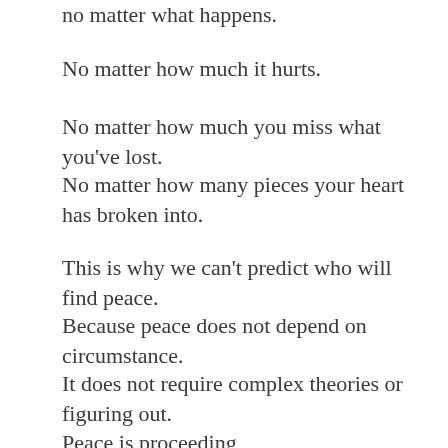no matter what happens.
No matter how much it hurts.
No matter how much you miss what you've lost.
No matter how many pieces your heart has broken into.
This is why we can't predict who will find peace.
Because peace does not depend on circumstance.
It does not require complex theories or figuring out.
Peace is proceeding